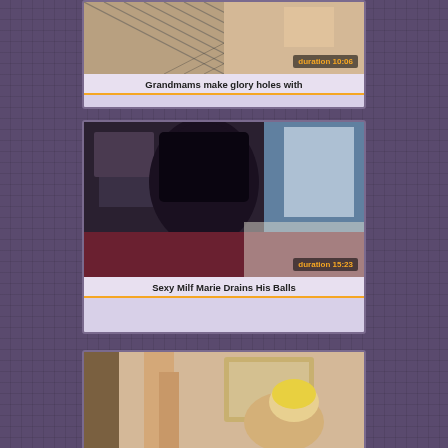[Figure (screenshot): Video thumbnail showing close-up of fishnet stockings with duration badge showing 10:06]
Grandmams make glory holes with
[Figure (screenshot): Video thumbnail showing dark-haired woman in bedroom setting with duration badge showing 15:23]
Sexy Milf Marie Drains His Balls
[Figure (screenshot): Video thumbnail showing partial view of two people with blonde woman]